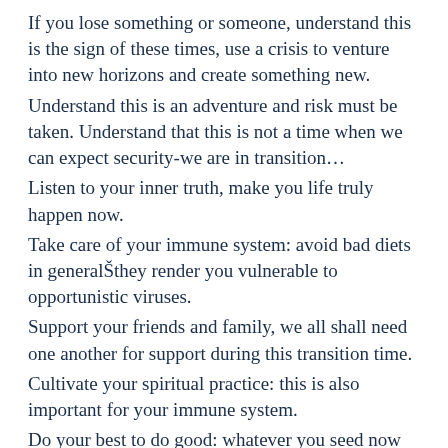If you lose something or someone, understand this is the sign of these times, use a crisis to venture into new horizons and create something new.
Understand this is an adventure and risk must be taken. Understand that this is not a time when we can expect security-we are in transition…
Listen to your inner truth, make you life truly happen now.
Take care of your immune system: avoid bad diets in generalŠthey render you vulnerable to opportunistic viruses.
Support your friends and family, we all shall need one another for support during this transition time.
Cultivate your spiritual practice: this is also important for your immune system.
Do your best to do good: whatever you seed now will